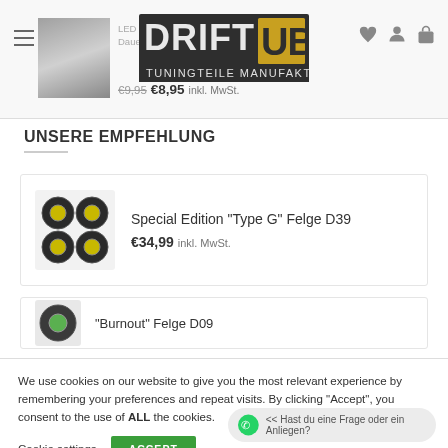DriftUB Tuningteile Manufaktur - LED Ri... Daue... €9,95 €8,95 inkl. MwSt.
UNSERE EMPFEHLUNG
Special Edition "Type G" Felge D39 €34,99 inkl. MwSt.
"Burnout" Felge D09
We use cookies on our website to give you the most relevant experience by remembering your preferences and repeat visits. By clicking "Accept", you consent to the use of ALL the cookies.
Cookie settings
<< Hast du eine Frage oder ein Anliegen?